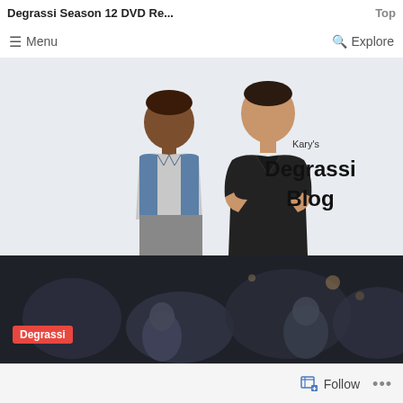Degrassi Season 12 DVD Re...
Menu   Explore
[Figure (illustration): Kary's Degrassi Blog banner with two male characters — one in denim vest, one in black shirt with arms crossed — on a light blue/grey background with the text 'Kary's Degrassi Blog']
[Figure (photo): Dark background photo of crowd scene with dim lighting, associated with Degrassi]
Degrassi
Follow   ...